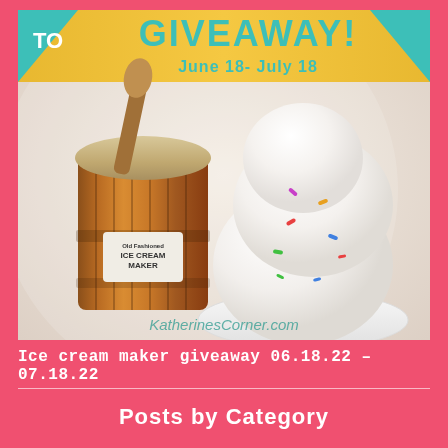[Figure (photo): Ice cream maker giveaway promotional image showing a wooden bucket ice cream maker on the left and scoops of vanilla ice cream with sprinkles on the right. A teal and yellow banner at the top reads 'GIVEAWAY! June 18- July 18'. Watermark text 'KatherinesCorner.com' appears at the bottom of the image.]
Ice cream maker giveaway 06.18.22 – 07.18.22
Posts by Category